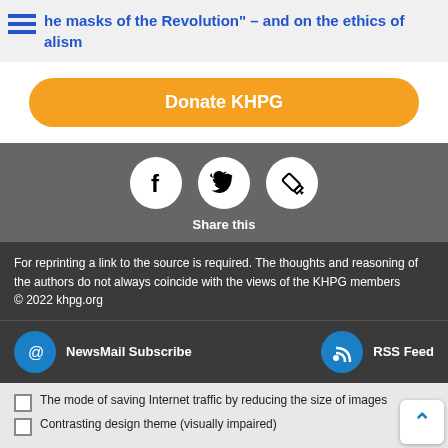he masks of the Revolution" – and on the ethics of alism
Donate KHPG
[Figure (infographic): Three white circular social media icons on grey background: Facebook (f), Twitter (bird), and Edit/pencil icon, with 'Share this' label below]
Share this
For reprinting a link to the source is required. The thoughts and reasoning of the authors do not always coincide with the views of the KHPG members
© 2022 khpg.org
NewsMail Subscribe
RSS Feed
The mode of saving Internet traffic by reducing the size of images
Contrasting design theme (visually impaired)